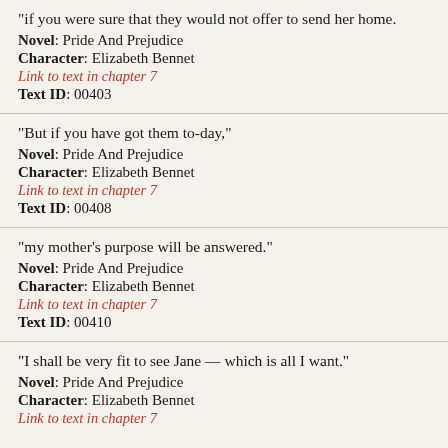“if you were sure that they would not offer to send her home.”
Novel: Pride And Prejudice
Character: Elizabeth Bennet
Link to text in chapter 7
Text ID: 00403
“But if you have got them to-day,”
Novel: Pride And Prejudice
Character: Elizabeth Bennet
Link to text in chapter 7
Text ID: 00408
“my mother’s purpose will be answered.”
Novel: Pride And Prejudice
Character: Elizabeth Bennet
Link to text in chapter 7
Text ID: 00410
“I shall be very fit to see Jane — which is all I want.”
Novel: Pride And Prejudice
Character: Elizabeth Bennet
Link to text in chapter 7